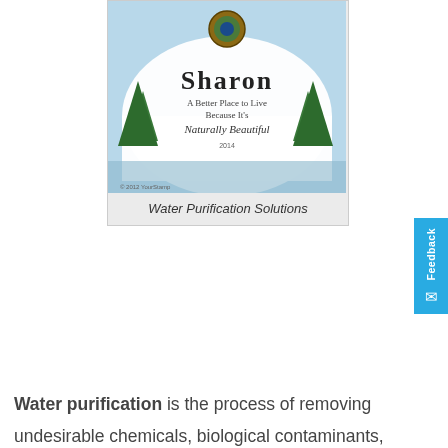[Figure (photo): A photo of a 'Sharon - A Better Place to Live Because It's Naturally Beautiful' sign/label with trees and a scenic background. Dated 2012.]
Water Purification Solutions
Water purification is the process of removing undesirable chemicals, biological contaminants, and suspended solids and gases from water with the goal of producing water fit for a specific purpose. Most drinking water goes through a disinfection process, but water purification may also be designed for other purposes, including fulfilling the requirements of pharmacological, medical,